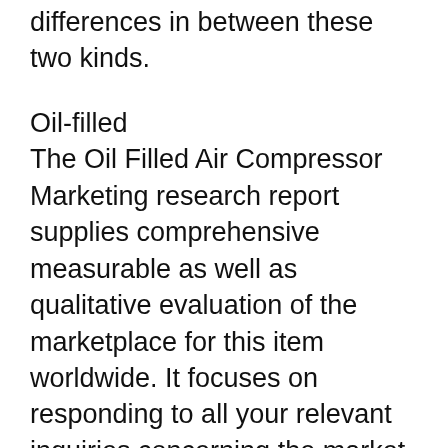differences in between these two kinds.
Oil-filled
The Oil Filled Air Compressor Marketing research report supplies comprehensive measurable as well as qualitative evaluation of the marketplace for this item worldwide. It focuses on responding to all your relevant inquiries concerning the market, from item information and also rates to company profiles as well as SWOT evaluation. It additionally supplies detailed evaluation of the sector scenario and the affordable growths. This record covers vital market gamers and their methods, recent advancements, and also market dimension. It additionally covers regional and also country-level market analysis.